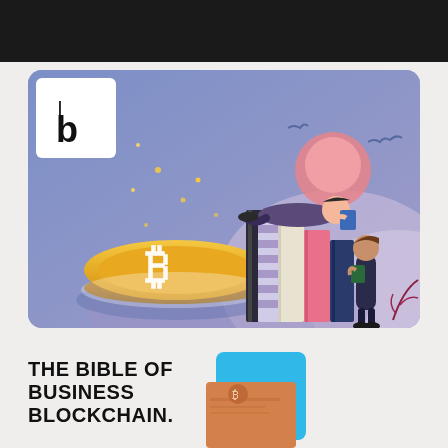[Figure (illustration): Dark header bar at top of page with navigation elements]
[Figure (illustration): Illustrated card showing a large Bitcoin coin on the left with golden sparkles, a person lying on stacked books reading, and another person standing reading a book, with a purple/blue sky background, sun, clouds, and a plant. A white square logo with letter 'b' in top left corner.]
THE BIBLE OF BUSINESS BLOCKCHAIN.
[Figure (illustration): Book cover thumbnail with a blue card/tab above it, partially visible at the bottom of the page]